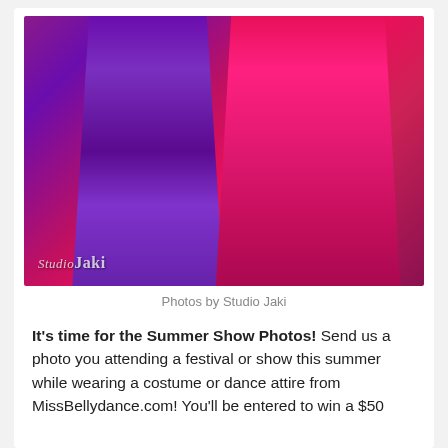[Figure (photo): Two belly dancers on stage, one wearing a purple costume and one wearing a hot pink/magenta costume with ornate beaded hip scarves, performing at what appears to be a summer show. Watermark reads 'Studio Jaki' in the lower left corner of the photo.]
Photos by Studio Jaki
It's time for the Summer Show Photos! Send us a photo you attending a festival or show this summer while wearing a costume or dance attire from MissBellydance.com! You'll be entered to win a $50